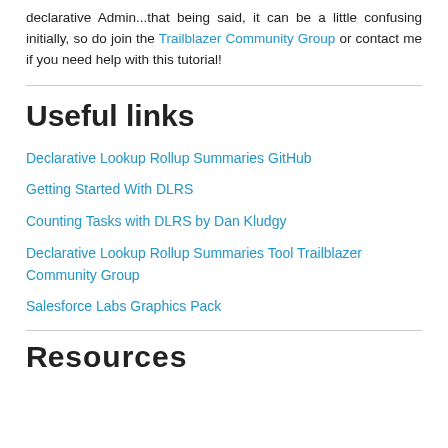declarative Admin...that being said, it can be a little confusing initially, so do join the Trailblazer Community Group or contact me if you need help with this tutorial!
Useful links
Declarative Lookup Rollup Summaries GitHub
Getting Started With DLRS
Counting Tasks with DLRS by Dan Kludgy
Declarative Lookup Rollup Summaries Tool Trailblazer Community Group
Salesforce Labs Graphics Pack
Resources